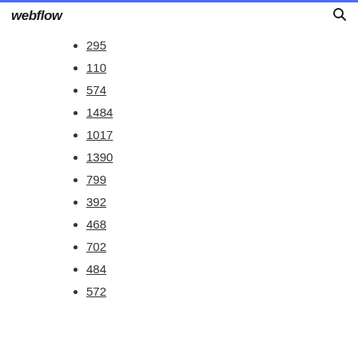webflow
295
110
574
1484
1017
1390
799
392
468
702
484
572